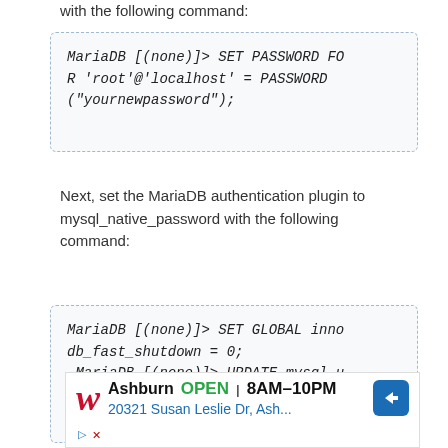with the following command:
MariaDB [(none)]> SET PASSWORD FOR 'root'@'localhost' = PASSWORD ("yournewpassword");
Next, set the MariaDB authentication plugin to mysql_native_password with the following command:
MariaDB [(none)]> SET GLOBAL innodb_fast_shutdown = 0;
 MariaDB [(none)]> UPDATE mysql.user SET plugin = 'mysql_native_password' WHERE User = 'root';
[Figure (other): Walgreens advertisement overlay showing store location in Ashburn, OPEN 8AM-10PM, address 20321 Susan Leslie Dr, Ash...]